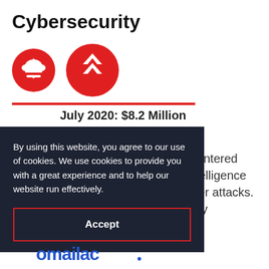Cybersecurity
[Figure (illustration): Two red circular icons with white symbols: a cloud with upload/download arrows, and a chevron/arrow up icon]
July 2020: $8.2 Million
Tempe
CYR3CON uses hacker-centered algorithms and artificial intelligence to predict and prevent cyber attacks. They monitor acquisition vulnerabilities by
By using this website, you agree to our use of cookies. We use cookies to provide you with a great experience and to help our website run effectively.
Accept
[Figure (logo): Blue logo text at bottom reading 'amailac' or similar brand name]